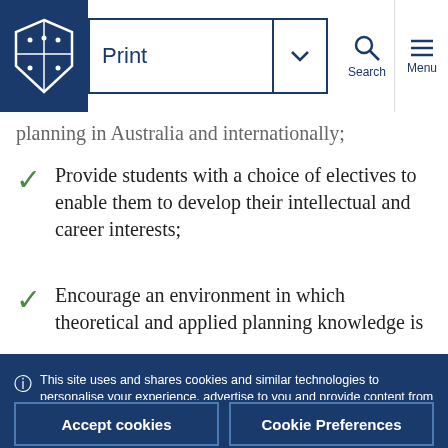University of Melbourne – Print [nav bar with Search and Menu]
planning in Australia and internationally;
Provide students with a choice of electives to enable them to develop their intellectual and career interests;
Encourage an environment in which theoretical and applied planning knowledge is
This site uses and shares cookies and similar technologies to personalise your experience, advertise to you and provide content from third-parties as well as analyse our usage. You consent to our use of such technologies by proceeding. You can change your mind or consent choices at any time. Visit our Privacy Statement for further information.
Accept cookies
Cookie Preferences